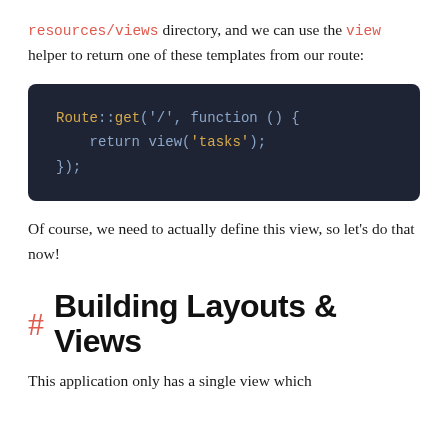resources/views directory, and we can use the view helper to return one of these templates from our route:
[Figure (screenshot): Dark-themed code block showing PHP Laravel route definition: Route::get('/', function () { return view('tasks'); });]
Of course, we need to actually define this view, so let's do that now!
# Building Layouts & Views
This application only has a single view which